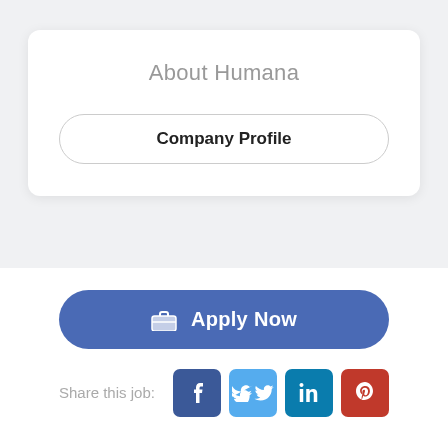About Humana
Company Profile
Apply Now
Share this job: